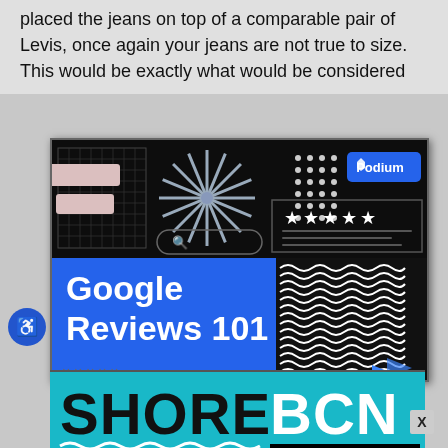placed the jeans on top of a comparable pair of Levis, once again your jeans are not true to size. This would be exactly what would be considered
[Figure (screenshot): Podium Google Reviews 101 advertisement banner with dark background featuring decorative grid, starburst, dots, Podium button, star rating box, and blue panel with 'Google Reviews 101' text in white, wavy lines panel, x-marks, and blue arrows.]
[Figure (advertisement): Shore BCN advertisement overlay at bottom with teal/cyan background and bold black and white text reading SHORE BCN with wave underline.]